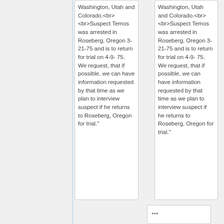Washington, Utah and Colorado.<br><br>Suspect Temos was arrested in Roseberg, Oregon 3-21-75 and is to return for trial on 4-9-75. We request, that if possible, we can have information requested by that time as we plan to interview suspect if he returns to Roseberg, Oregon for trial."
Washington, Utah and Colorado.<br><br>Suspect Temos was arrested in Roseberg, Oregon 3-21-75 and is to return for trial on 4-9-75. We request, that if possible, we can have information requested by that time as we plan to interview suspect if he returns to Roseberg, Oregon for trial."
***
***